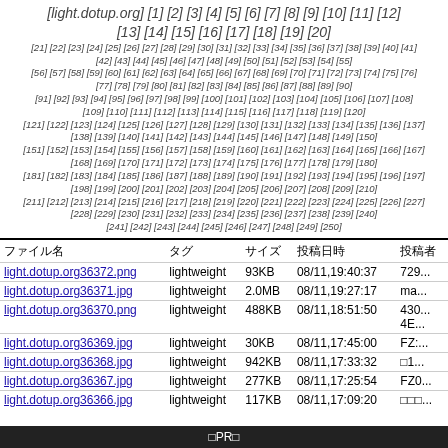[light.dotup.org] [1] [2] [3] [4] [5] [6] [7] [8] [9] [10] [11] [12] [13] [14] [15] [16] [17] [18] [19] [20] [21] [22] [23] [24] [25] [26] [27] [28] [29] [30] [31] [32] [33] [34] [35] [36] [37] [38] [39] [40] [41] [42] [43] [44] [45] [46] [47] [48] [49] [50] [51] [52] [53] [54] [55] [56] [57] [58] [59] [60] [61] [62] [63] [64] [65] [66] [67] [68] [69] [70] [71] [72] [73] [74] [75] [76] [77] [78] [79] [80] [81] [82] [83] [84] [85] [86] [87] [88] [89] [90] [91] [92] [93] [94] [95] [96] [97] [98] [99] [100] [101] [102] [103] [104] [105] [106] [107] [108] [109] [110] [111] [112] [113] [114] [115] [116] [117] [118] [119] [120] [121] [122] [123] [124] [125] [126] [127] [128] [129] [130] [131] [132] [133] [134] [135] [136] [137] [138] [139] [140] [141] [142] [143] [144] [145] [146] [147] [148] [149] [150] [151] [152] [153] [154] [155] [156] [157] [158] [159] [160] [161] [162] [163] [164] [165] [166] [167] [168] [169] [170] [171] [172] [173] [174] [175] [176] [177] [178] [179] [180] [181] [182] [183] [184] [185] [186] [187] [188] [189] [190] [191] [192] [193] [194] [195] [196] [197] [198] [199] [200] [201] [202] [203] [204] [205] [206] [207] [208] [209] [210] [211] [212] [213] [214] [215] [216] [217] [218] [219] [220] [221] [222] [223] [224] [225] [226] [227] [228] [229] [230] [231] [232] [233] [234] [235] [236] [237] [238] [239] [240] [241] [242] [243] [244] [245] [246] [247] [248] [249] [250]
| ファイル名 | タグ | サイズ | 投稿日時 | 投稿者 |
| --- | --- | --- | --- | --- |
| light.dotup.org36372.png | lightweight | 93KB | 08/11,19:40:37 | 729... |
| light.dotup.org36371.jpg | lightweight | 2.0MB | 08/11,19:27:17 | ma... |
| light.dotup.org36370.png | lightweight | 488KB | 08/11,18:51:50 | 430... 4E... |
| light.dotup.org36369.jpg | lightweight | 30KB | 08/11,17:45:00 | FZ:... |
| light.dotup.org36368.jpg | lightweight | 942KB | 08/11,17:33:32 | □1... |
| light.dotup.org36367.jpg | lightweight | 277KB | 08/11,17:25:54 | FZ0... |
| light.dotup.org36366.jpg | lightweight | 117KB | 08/11,17:09:20 | □□□... |
□PR□